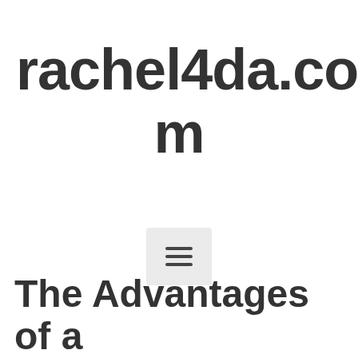rachel4da.com
[Figure (other): Hamburger menu button icon — three horizontal lines on a light gray rounded square background]
The Advantages of a